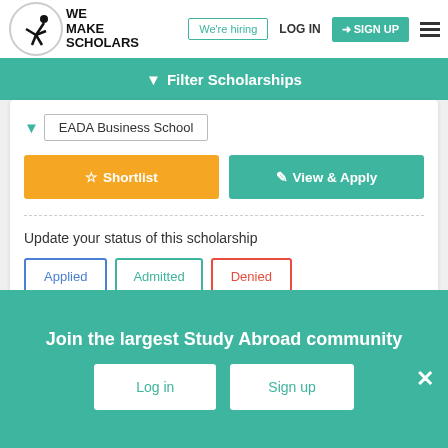[Figure (logo): We Make Scholars logo with gymnast figure inside circle]
We're hiring | LOG IN | SIGN UP
Filter Scholarships
EADA Business School
Shortlist | View & Apply
Update your status of this scholarship
Applied | Admitted | Denied
Join the largest Study Abroad community
Log in | Sign up